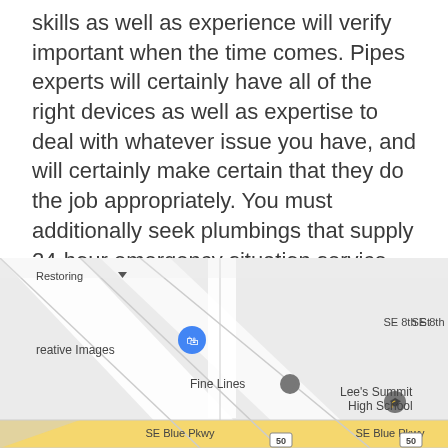skills as well as experience will verify important when the time comes. Pipes experts will certainly have all of the right devices as well as expertise to deal with whatever issue you have, and will certainly make certain that they do the job appropriately. You must additionally seek plumbings that supply 24-hour emergency situation service. By doing this, you can rest assured that they will certainly do the job properly and also effectively.
[Figure (map): Google Maps screenshot showing area around Lee's Summit High School. Visible labels include: Restoring (with dropdown arrow), SE 8th St, reative Images (with blue location pin/bag icon), Fine Lines (with grey location pin), Lee's Summit High School (with grey graduation cap icon), SE Blue Pkwy (appearing twice at bottom), and route marker 50.]